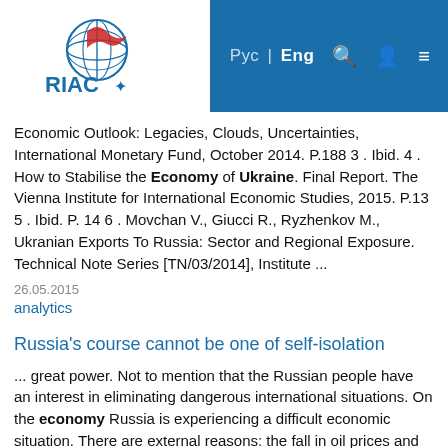RIAC — Рус | Eng
Economic Outlook: Legacies, Clouds, Uncertainties, International Monetary Fund, October 2014. P.188 3 . Ibid. 4 . How to Stabilise the Economy of Ukraine. Final Report. The Vienna Institute for International Economic Studies, 2015. P.13 5 . Ibid. P. 14 6 . Movchan V., Giucci R., Ryzhenkov M., Ukranian Exports To Russia: Sector and Regional Exposure. Technical Note Series [TN/03/2014], Institute ...
26.05.2015
analytics
Russia's course cannot be one of self-isolation
... great power. Not to mention that the Russian people have an interest in eliminating dangerous international situations. On the economy Russia is experiencing a difficult economic situation. There are external reasons: the fall in oil prices and the sanctions war. And in Russia. Media constitute ...